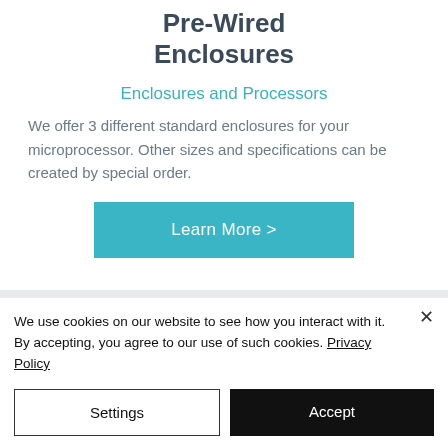Pre-Wired Enclosures
Enclosures and Processors
We offer 3 different standard enclosures for your microprocessor. Other sizes and specifications can be created by special order.
Learn More >
We use cookies on our website to see how you interact with it. By accepting, you agree to our use of such cookies. Privacy Policy
Settings
Accept